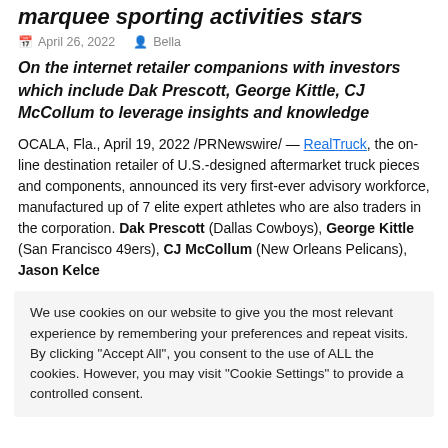marquee sporting activities stars
April 26, 2022  Bella
On the internet retailer companions with investors which include Dak Prescott, George Kittle, CJ McCollum to leverage insights and knowledge
OCALA, Fla., April 19, 2022 /PRNewswire/ — RealTruck, the on-line destination retailer of U.S.-designed aftermarket truck pieces and components, announced its very first-ever advisory workforce, manufactured up of 7 elite expert athletes who are also traders in the corporation. Dak Prescott (Dallas Cowboys), George Kittle (San Francisco 49ers), CJ McCollum (New Orleans Pelicans), Jason Kelce
We use cookies on our website to give you the most relevant experience by remembering your preferences and repeat visits. By clicking "Accept All", you consent to the use of ALL the cookies. However, you may visit "Cookie Settings" to provide a controlled consent.